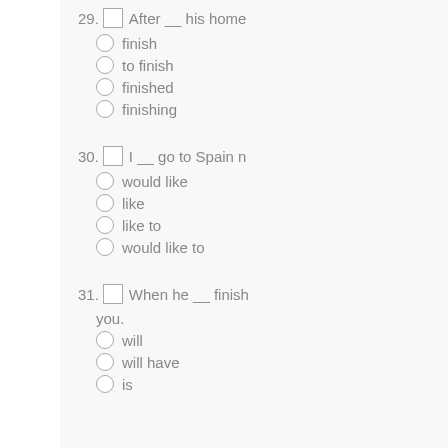29. [ ] After __ his home... ○ finish ○ to finish ○ finished ○ finishing
30. [ ] I __ go to Spain n... ○ would like ○ like ○ like to ○ would like to
31. [ ] When he __ finish... you. ○ will ○ will have ○ is